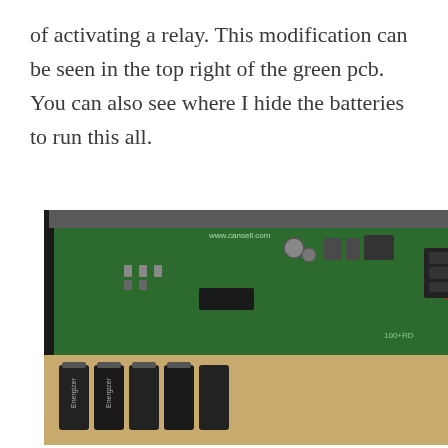of activating a relay. This modification can be seen in the top right of the green pcb. You can also see where I hide the batteries to run this all.
[Figure (photo): Photograph of an open enclosure showing a green PCB circuit board with various electronic components, wiring (red and yellow wires), and battery compartment below with multiple batteries installed.]